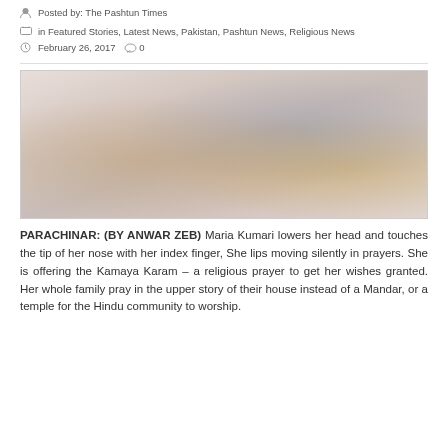Posted by: The Pashtun Times
in Featured Stories, Latest News, Pakistan, Pashtun News, Religious News
February 26, 2017  0
[Figure (photo): A faded/washed-out photograph showing a woman (Maria Kumari) and family members praying in a room decorated with religious items. One woman wears yellow, another blue, with religious imagery visible in the background.]
PARACHINAR: (BY ANWAR ZEB) Maria Kumari lowers her head and touches the tip of her nose with her index finger, She lips moving silently in prayers. She is offering the Kamaya Karam – a religious prayer to get her wishes granted. Her whole family pray in the upper story of their house instead of a Mandar, or a temple for the Hindu community to worship.